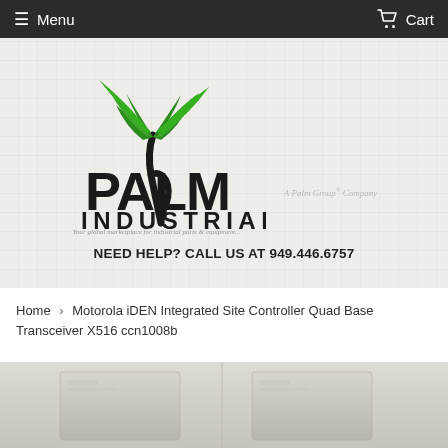Menu   Cart
[Figure (logo): Palm Industrial logo with palm tree graphic and text 'PALM INDUSTRIAL' and tagline 'Your global marketplace for industrial parts & equipment'. Subtitle: 'A Palm Group® Company']
NEED HELP? CALL US AT 949.446.6757
Home › Motorola iDEN Integrated Site Controller Quad Base Transceiver X516 ccn1008b
[Figure (photo): Product image showing industrial equipment (Motorola iDEN Integrated Site Controller Quad Base Transceiver X516), beige/tan colored rack-mount units on light background]